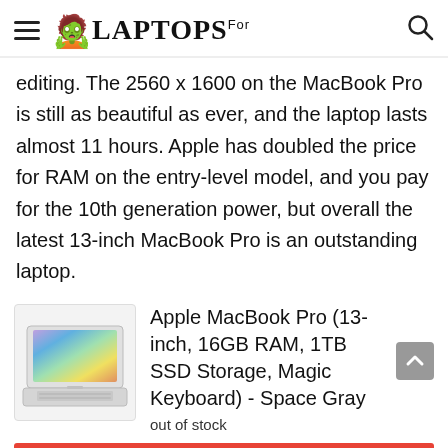Laptops For (logo)
editing. The 2560 x 1600 on the MacBook Pro is still as beautiful as ever, and the laptop lasts almost 11 hours. Apple has doubled the price for RAM on the entry-level model, and you pay for the 10th generation power, but overall the latest 13-inch MacBook Pro is an outstanding laptop.
[Figure (photo): Apple MacBook Pro laptop product image, silver/space gray, open at an angle, showing colorful rainbow-like screen]
Apple MacBook Pro (13-inch, 16GB RAM, 1TB SSD Storage, Magic Keyboard) - Space Gray
out of stock
Buy Now
December 11, 2021 2:34 pm